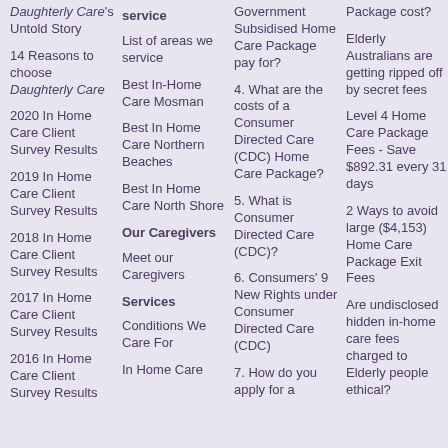Daughterly Care's Untold Story
14 Reasons to choose Daughterly Care
2020 In Home Care Client Survey Results
2019 In Home Care Client Survey Results
2018 In Home Care Client Survey Results
2017 In Home Care Client Survey Results
2016 In Home Care Client Survey Results
service
List of areas we service
Best In-Home Care Mosman
Best In Home Care Northern Beaches
Best In Home Care North Shore
Our Caregivers
Meet our Caregivers
Services
Conditions We Care For
In Home Care
Government Subsidised Home Care Package pay for?
4. What are the costs of a Consumer Directed Care (CDC) Home Care Package?
5. What is Consumer Directed Care (CDC)?
6. Consumers' 9 New Rights under Consumer Directed Care (CDC)
7. How do you apply for a
Package cost?
Elderly Australians are getting ripped off by secret fees
Level 4 Home Care Package Fees - Save $892.31 every 31 days
2 Ways to avoid large ($4,153) Home Care Package Exit Fees
Are undisclosed hidden in-home care fees charged to Elderly people ethical?